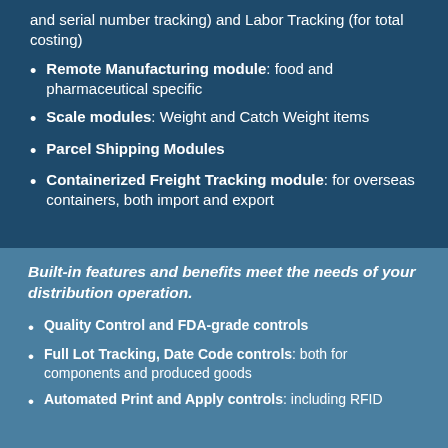and serial number tracking) and Labor Tracking (for total costing)
Remote Manufacturing module: food and pharmaceutical specific
Scale modules: Weight and Catch Weight items
Parcel Shipping Modules
Containerized Freight Tracking module: for overseas containers, both import and export
Built-in features and benefits meet the needs of your distribution operation.
Quality Control and FDA-grade controls
Full Lot Tracking, Date Code controls: both for components and produced goods
Automated Print and Apply controls: including RFID